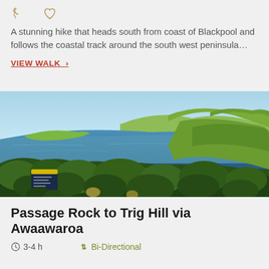A stunning hike that heads south from coast of Blackpool and follows the coastal track around the south west peninsula…
VIEW WALK >
[Figure (photo): Coastal landscape panorama showing a blue harbour/bay with green rolling hills and dense bush in the foreground, with a trail marker sign visible at bottom left.]
Passage Rock to Trig Hill via Awaawaroa
3-4 h   Bi-Directional